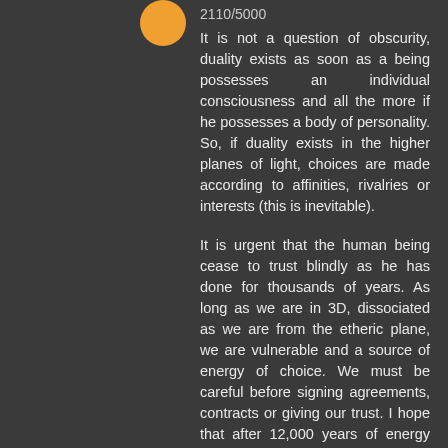2110/5000
It is not a question of obscurity, duality exists as soon as a being possesses an individual consciousness and all the more if he possesses a body of personality. So, if duality exists in the higher planes of light, choices are made according to affinities, rivalries or interests (this is inevitable).
It is urgent that the human being cease to trust blindly as he has done for thousands of years. As long as we are in 3D, dissociated as we are from the etheric plane, we are vulnerable and a source of energy of choice. We must be careful before signing agreements, contracts or giving our trust. I hope that after 12,000 years of energy parasitism, we have matured!
The only thing we need to do for the moment is to help Gaia with our light and our creative power, to help and love our brothers and sisters in Gaia. For the rest, it concerns the divine plans!